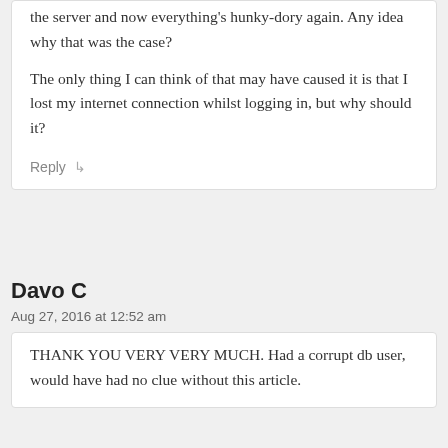the server and now everything's hunky-dory again. Any idea why that was the case?
The only thing I can think of that may have caused it is that I lost my internet connection whilst logging in, but why should it?
Reply
Davo C
Aug 27, 2016 at 12:52 am
THANK YOU VERY VERY MUCH. Had a corrupt db user, would have had no clue without this article.